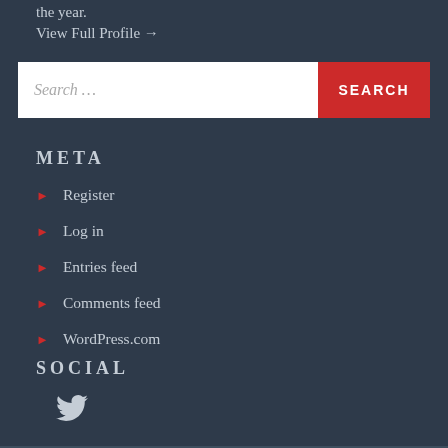the year.
View Full Profile →
META
Register
Log in
Entries feed
Comments feed
WordPress.com
SOCIAL
[Figure (logo): Twitter bird icon]